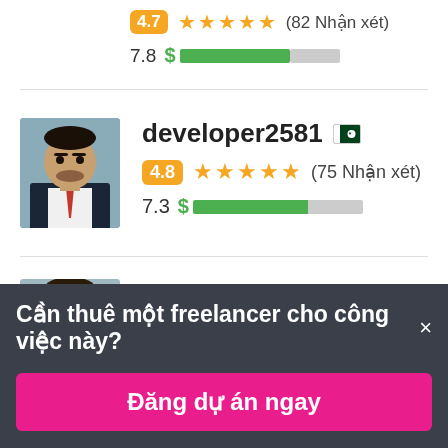[Figure (screenshot): Partial freelancer profile card at top showing rating 4.7, 5 stars, (82 Nhận xét), score 7.8 with green dollar bar]
[Figure (photo): Profile photo of developer2581, a man in suit, from Pakistan]
developer2581
4.8 ★★★★★ (75 Nhận xét)
7.3 $ ██████████
Cần thuê một freelancer cho công việc này?×
Đăng dự án ngay